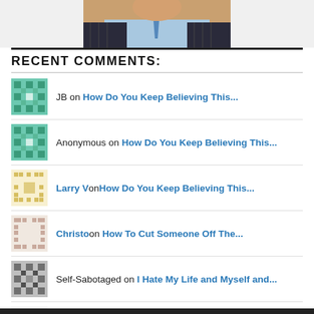[Figure (photo): Cropped photo of a person in a suit with light blue background, only torso and chin visible]
RECENT COMMENTS:
JB on How Do You Keep Believing This...
Anonymous on How Do You Keep Believing This...
Larry V on How Do You Keep Believing This...
Christo on How To Cut Someone Off The...
Self-Sabotaged on I Hate My Life and Myself and...
David Husley on Why I'm No Longer Self-Identif...
Sarah on How To Cut Someone Off The...